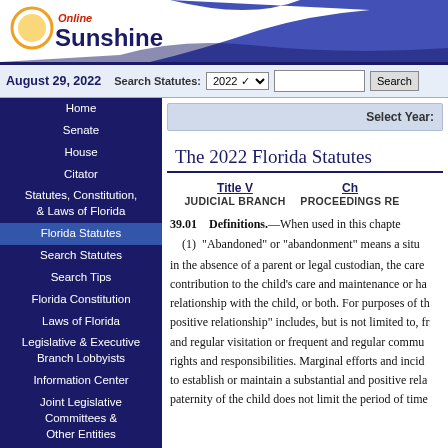[Figure (logo): Online Sunshine logo with sun graphic and navy blue text]
August 29, 2022   Search Statutes: 2022  [search box]  Search
Home
Senate
House
Citator
Statutes, Constitution, & Laws of Florida
Florida Statutes
Search Statutes
Search Tips
Florida Constitution
Laws of Florida
Legislative & Executive Branch Lobbyists
Information Center
Joint Legislative Committees & Other Entities
Historical Committees
Florida Government Efficiency Task Force
Legislative Employment
Legistore
Select Year:
The 2022 Florida Statutes
Title V  JUDICIAL BRANCH    Ch  PROCEEDINGS RE
39.01  Definitions.—When used in this chapter, (1) "Abandoned" or "abandonment" means a situation in the absence of a parent or legal custodian, the care, contribution to the child's care and maintenance or having a relationship with the child, or both. For purposes of this positive relationship" includes, but is not limited to, frequent and regular visitation or frequent and regular communication rights and responsibilities. Marginal efforts and incidental to establish or maintain a substantial and positive relationship paternity of the child does not limit the period of time